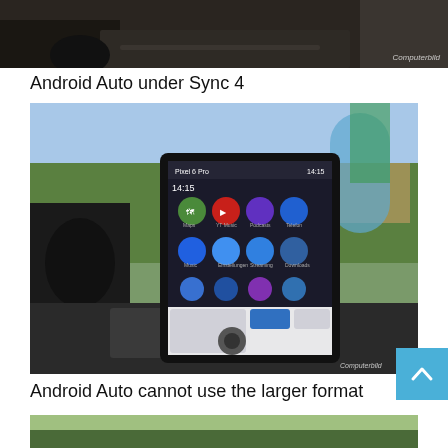[Figure (photo): Top portion of a car interior photo showing dashboard area, partially cropped]
Android Auto under Sync 4
[Figure (photo): Car interior showing a tall vertical touchscreen displaying Android Auto interface with app icons including Maps, YouTube, Podcasts, Phone, Music, Settings, and other apps. The screen shows a Pixel 6 Pro connected. Background shows outdoor scene through car windows.]
Android Auto cannot use the larger format
[Figure (photo): Bottom portion of another car exterior/interior photo, partially visible]